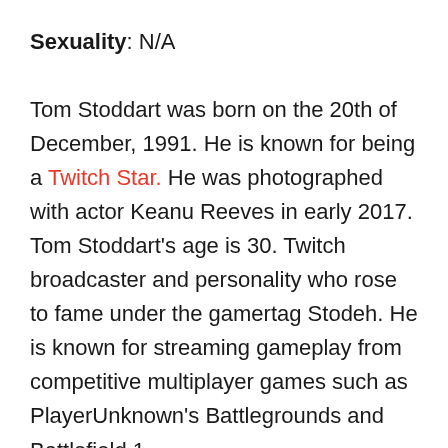Sexuality: N/A
Tom Stoddart was born on the 20th of December, 1991. He is known for being a Twitch Star. He was photographed with actor Keanu Reeves in early 2017. Tom Stoddart's age is 30. Twitch broadcaster and personality who rose to fame under the gamertag Stodeh. He is known for streaming gameplay from competitive multiplayer games such as PlayerUnknown's Battlegrounds and Battlefield 1.
The 30-year-old twitch star was born in